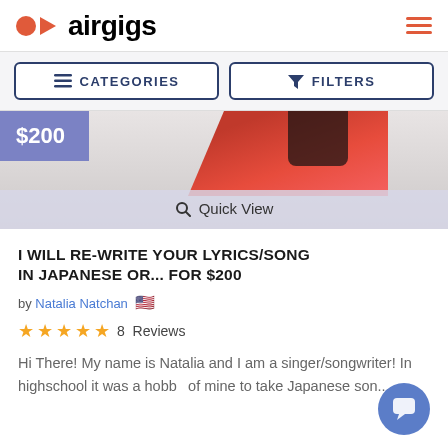airgigs
CATEGORIES
FILTERS
[Figure (photo): Product listing image with red shiny outfit, price badge $200, and Quick View overlay]
I WILL RE-WRITE YOUR LYRICS/SONG IN JAPANESE OR... FOR $200
by Natalia Natchan 🇺🇸
★★★★★ 8 Reviews
Hi There! My name is Natalia and I am a singer/songwriter! In highschool it was a hobby of mine to take Japanese son...